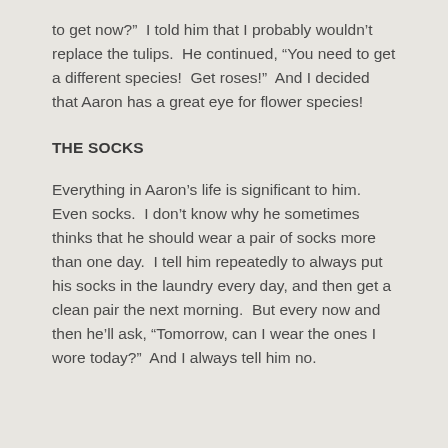to get now?”  I told him that I probably wouldn’t replace the tulips.  He continued, “You need to get a different species!  Get roses!”  And I decided that Aaron has a great eye for flower species!
THE SOCKS
Everything in Aaron’s life is significant to him.  Even socks.  I don’t know why he sometimes thinks that he should wear a pair of socks more than one day.  I tell him repeatedly to always put his socks in the laundry every day, and then get a clean pair the next morning.  But every now and then he’ll ask, “Tomorrow, can I wear the ones I wore today?”  And I always tell him no.